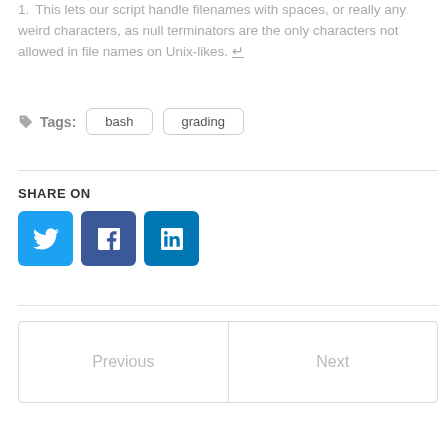1. This lets our script handle filenames with spaces, or really any weird characters, as null terminators are the only characters not allowed in file names on Unix-likes. ↵
Tags: bash grading
SHARE ON
[Figure (other): Social media share buttons: Twitter (blue bird icon), Facebook (dark blue f icon), LinkedIn (blue in icon)]
Previous | Next navigation buttons